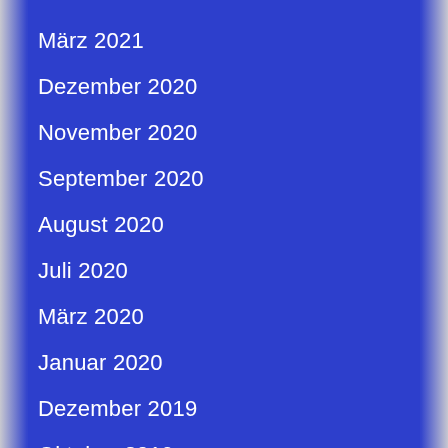März 2021
Dezember 2020
November 2020
September 2020
August 2020
Juli 2020
März 2020
Januar 2020
Dezember 2019
Oktober 2019